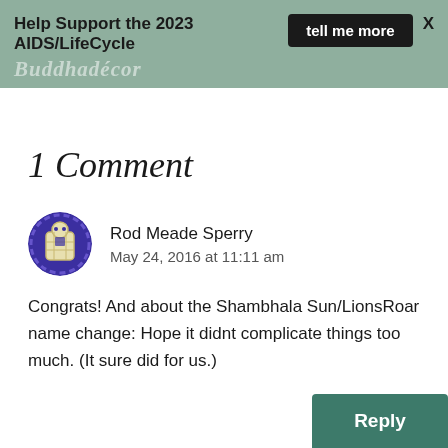Help Support the 2023 AIDS/LifeCycle   tell me more   X
[Figure (logo): Buddhadecor logo text in white italic on green banner background]
1 Comment
[Figure (illustration): Circular avatar icon with purple/blue background and white/beige robot-like figure in center, for user Rod Meade Sperry]
Rod Meade Sperry
May 24, 2016 at 11:11 am
Congrats! And about the Shambhala Sun/LionsRoar name change: Hope it didnt complicate things too much. (It sure did for us.)
Reply